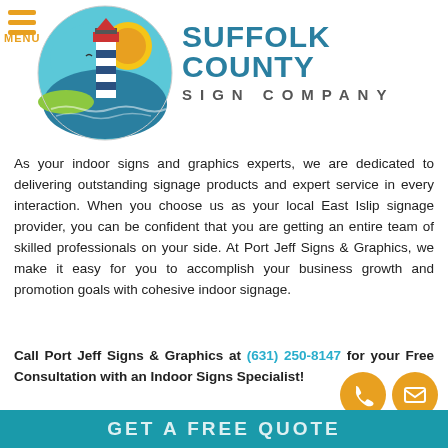[Figure (logo): Suffolk County Sign Company logo with lighthouse in a circular emblem and company name in teal text]
As your indoor signs and graphics experts, we are dedicated to delivering outstanding signage products and expert service in every interaction. When you choose us as your local East Islip signage provider, you can be confident that you are getting an entire team of skilled professionals on your side. At Port Jeff Signs & Graphics, we make it easy for you to accomplish your business growth and promotion goals with cohesive indoor signage.
Call Port Jeff Signs & Graphics at (631) 250-8147 for your Free Consultation with an Indoor Signs Specialist!
GET A FREE QUOTE